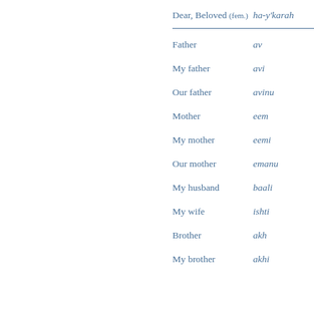Dear, Beloved (fem.) — ha-y'karah
Father — av
My father — avi
Our father — avinu
Mother — eem
My mother — eemi
Our mother — emanu
My husband — baali
My wife — ishti
Brother — akh
My brother — akhi